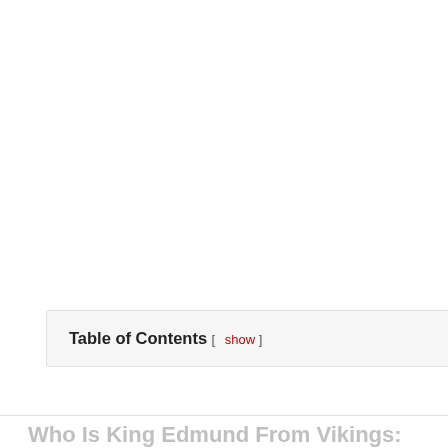Table of Contents [ show ]
Who Is King Edmund From Vikings: